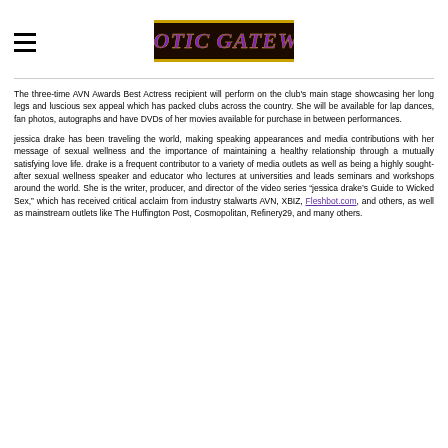Erotic Gateway (logo) with hamburger menu
The three-time AVN Awards Best Actress recipient will perform on the club's main stage showcasing her long legs and luscious sex appeal which has packed clubs across the country. She will be available for lap dances, fan photos, autographs and have DVDs of her movies available for purchase in between performances.
jessica drake has been traveling the world, making speaking appearances and media contributions with her message of sexual wellness and the importance of maintaining a healthy relationship through a mutually satisfying love life. drake is a frequent contributor to a variety of media outlets as well as being a highly sought-after sexual wellness speaker and educator who lectures at universities and leads seminars and workshops around the world. She is the writer, producer, and director of the video series “jessica drake’s Guide to Wicked Sex,” which has received critical acclaim from industry stalwarts AVN, XBIZ, Fleshbot.com, and others, as well as mainstream outlets like The Huffington Post, Cosmopolitan, Refinery29, and many others.